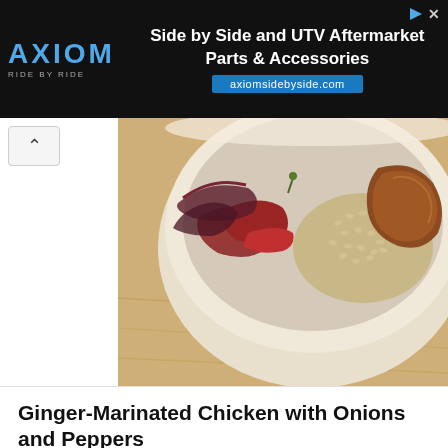[Figure (screenshot): Axiom advertisement banner with black background. AXIOM logo in blue on left, text 'Side by Side and UTV Aftermarket Parts & Accessories' in white on right, URL 'axiomsidebyside.com' in blue bar below.]
[Figure (photo): Close-up photo of a ceramic bowl containing ginger-marinated chicken with onions, red peppers, and grains (barley or similar), placed on a wooden cutting board.]
Ginger-Marinated Chicken with Onions and Peppers
foodandwine.com
Ingredients: ginger root, honey, onion, chicken breast, extra virgin olive oil, bell pepper, cayenne